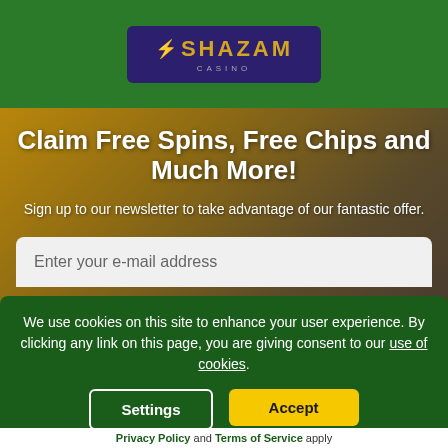[Figure (logo): Shazam Casino logo: purple rounded rectangle background with golden SHAZAM text and small green lightning bolt icon, with CASINO text below in grey]
Claim Free Spins, Free Chips and Much More!
Sign up to our newsletter to take advantage of our fantastic offer.
Enter your e-mail address
We use cookies on this site to enhance your user experience. By clicking any link on this page, you are giving consent to our use of cookies.
Settings
Accept
Privacy Policy and Terms of Service apply